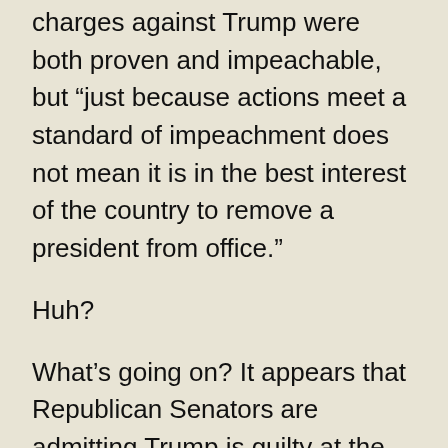charges against Trump were both proven and impeachable, but “just because actions meet a standard of impeachment does not mean it is in the best interest of the country to remove a president from office.”
Huh?
What’s going on? It appears that Republican Senators are admitting Trump is guilty at the same time they are running away not just from conviction, but also from hearing witnesses and seeing key documents. What does this even mean?
It seems that Republican Senators and